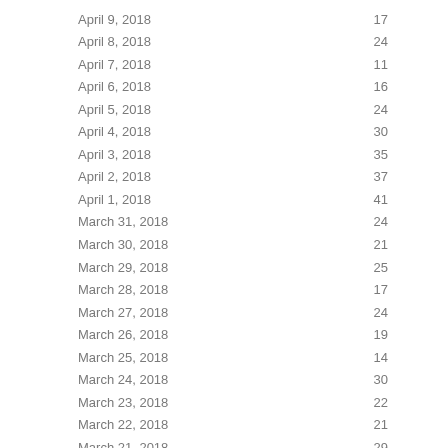| Date | Value |
| --- | --- |
| April 9, 2018 | 17 |
| April 8, 2018 | 24 |
| April 7, 2018 | 11 |
| April 6, 2018 | 16 |
| April 5, 2018 | 24 |
| April 4, 2018 | 30 |
| April 3, 2018 | 35 |
| April 2, 2018 | 37 |
| April 1, 2018 | 41 |
| March 31, 2018 | 24 |
| March 30, 2018 | 21 |
| March 29, 2018 | 25 |
| March 28, 2018 | 17 |
| March 27, 2018 | 24 |
| March 26, 2018 | 19 |
| March 25, 2018 | 14 |
| March 24, 2018 | 30 |
| March 23, 2018 | 22 |
| March 22, 2018 | 21 |
| March 21, 2018 | 29 |
| March 20, 2018 | 23 |
| March 19, 2018 | 31 |
| March 18, 2018 | 18 |